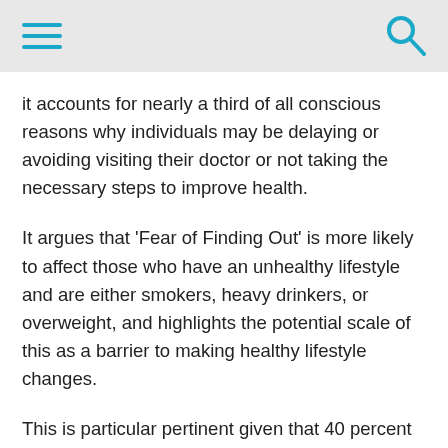it accounts for nearly a third of all conscious reasons why individuals may be delaying or avoiding visiting their doctor or not taking the necessary steps to improve health.
It argues that 'Fear of Finding Out' is more likely to affect those who have an unhealthy lifestyle and are either smokers, heavy drinkers, or overweight, and highlights the potential scale of this as a barrier to making healthy lifestyle changes.
This is particular pertinent given that 40 percent of all the deaths in England are linked to behaviour, and managing ill-health caused by